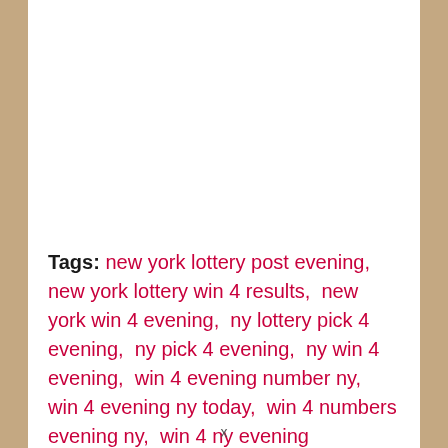Tags: new york lottery post evening,  new york lottery win 4 results,  new york win 4 evening,  ny lottery pick 4 evening,  ny pick 4 evening,  ny win 4 evening,  win 4 evening number ny,  win 4 evening ny today,  win 4 numbers evening ny,  win 4 ny evening
x